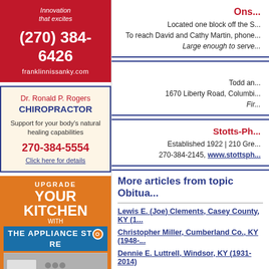[Figure (infographic): Franklin Nissan ad: red background, 'Innovation that excites', phone (270) 384-6426, website franklinnissanky.com]
[Figure (infographic): Dr. Ronald P. Rogers Chiropractor ad: beige background with blue border, support for body's natural healing capabilities, 270-384-5554, Click here for details]
[Figure (infographic): Upgrade Your Kitchen with The Appliance Store ad: orange background, kitchen appliances image, Next Door to Walmart, 270-384-5387]
Located one block off the S... To reach David and Cathy Martin, phone... Large enough to serve...
Todd an... 1670 Liberty Road, Columbi... Fir...
Stotts-Ph... Established 1922 | 210 Gre... 270-384-2145, www.stottsph...
More articles from topic Obitua...
Lewis E. (Joe) Clements, Casey County, KY (1...
Christopher Miller, Cumberland Co., KY (1948-...
Dennie E. Luttrell, Windsor, KY (1931-2014)
Chester Bastin, 83, Middleburg, KY (1930-2014...
Mary Margaret (Shoborg) Maus, Jamestown, K...